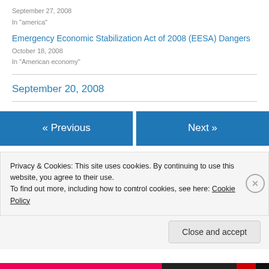September 27, 2008
In "america"
Emergency Economic Stabilization Act of 2008 (EESA) Dangers
October 18, 2008
In "American economy"
September 20, 2008
« Previous
Next »
Privacy & Cookies: This site uses cookies. By continuing to use this website, you agree to their use.
To find out more, including how to control cookies, see here: Cookie Policy
Close and accept